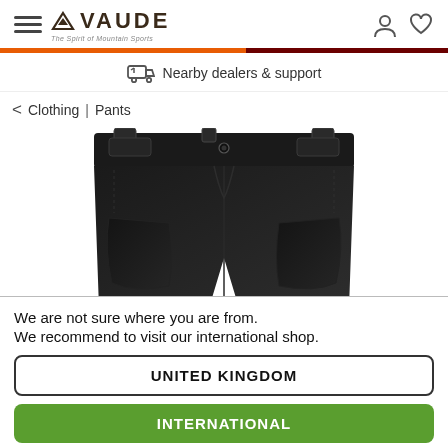VAUDE - The Spirit of Mountain Sports
Nearby dealers & support
Clothing | Pants
[Figure (photo): Close-up product photo of dark/black pants showing the waistband, button, belt loops, and reinforced knee panels from the front.]
We are not sure where you are from.
We recommend to visit our international shop.
UNITED KINGDOM
INTERNATIONAL